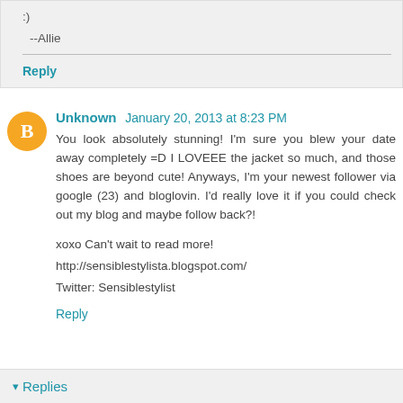:)
--Allie
Reply
Unknown  January 20, 2013 at 8:23 PM
You look absolutely stunning! I'm sure you blew your date away completely =D I LOVEEE the jacket so much, and those shoes are beyond cute! Anyways, I'm your newest follower via google (23) and bloglovin. I'd really love it if you could check out my blog and maybe follow back?!
xoxo Can't wait to read more!
http://sensiblestylista.blogspot.com/
Twitter: Sensiblestylist
Reply
Replies